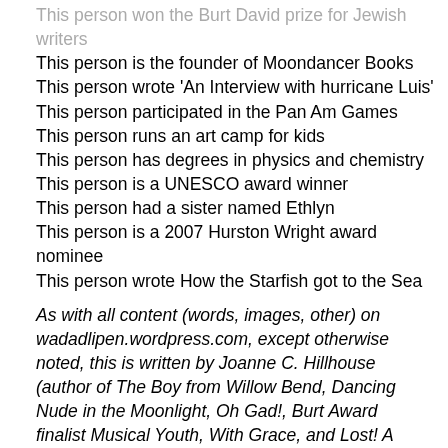This person won the Burt David prize for Jewish writers
This person is the founder of Moondancer Books
This person wrote 'An Interview with hurricane Luis'
This person participated in the Pan Am Games
This person runs an art camp for kids
This person has degrees in physics and chemistry
This person is a UNESCO award winner
This person had a sister named Ethlyn
This person is a 2007 Hurston Wright award nominee
This person wrote How the Starfish got to the Sea
As with all content (words, images, other) on wadadlipen.wordpress.com, except otherwise noted, this is written by Joanne C. Hillhouse (author of The Boy from Willow Bend, Dancing Nude in the Moonlight, Oh Gad!, Burt Award finalist Musical Youth, With Grace, and Lost! A Caribbean Sea Adventure). Check out my page on